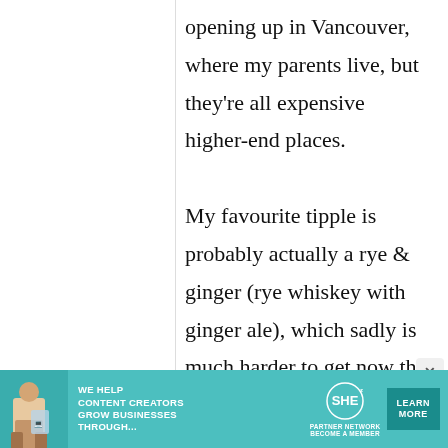opening up in Vancouver, where my parents live, but they're all expensive higher-end places.

My favourite tipple is probably actually a rye & ginger (rye whiskey with ginger ale), which sadly is much harder to get now that
[Figure (infographic): Advertisement banner for SHE Media Partner Network with text 'We Help Content Creators Grow Businesses Through...' and a Learn More button]